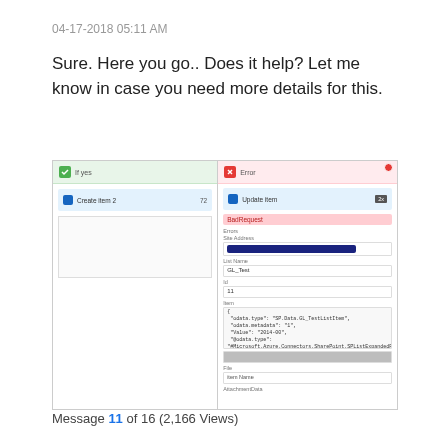04-17-2018 05:11 AM
Sure. Here you go.. Does it help? Let me know in case you need more details for this.
[Figure (screenshot): A screenshot showing a workflow tool with two panels side by side. The left panel shows a green 'If yes' header with a 'Create item 2' action block. The right panel shows a red error state with an 'Update item' action, a 'BadRequest' error message, and several form fields including a text field with redacted content, a list name field, an ID field, and a body/JSON field with code content. At the bottom is a gray bar and file attachment label.]
Message 11 of 16 (2,166 Views)